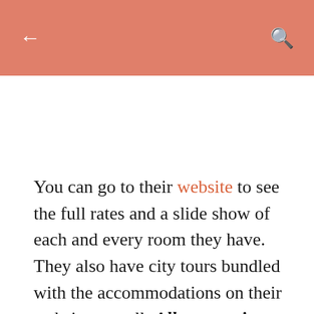← [back arrow]  [search icon]
You can go to their website to see the full rates and a slide show of each and every room they have. They also have city tours bundled with the accommodations on their website as well. All room prices include free airport transfers, breakfast, Wifi, an electronic safe, aircon, hot and cold showers, ceiling fan and TV